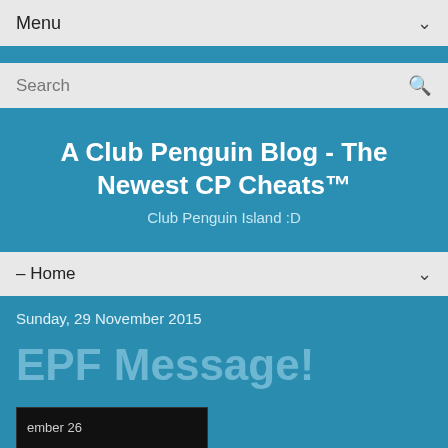Menu
Search
A Club Penguin Blog - The Newest CP Cheats™
Club Penguin Island :D
– Home
Sunday, 29 November 2015
EPF Message!
[Figure (screenshot): Screenshot of an in-game EPF message. Shows date 'ember 26' and partial text: 'can help the UFO, se this comms equ t for now, agents!']